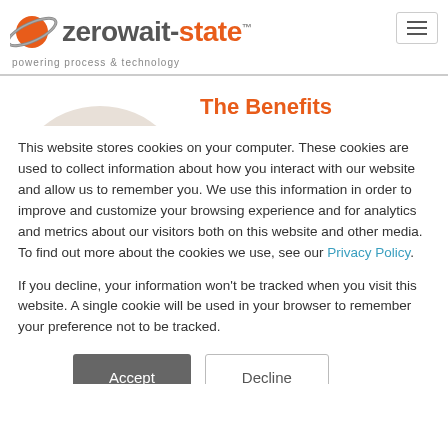[Figure (logo): zerowait-state logo with orange planet icon, text 'zerowait-state' in grey/orange, subtitle 'powering process & technology']
The Benefits
Through automation of setting item and BOM plant variations, Teleflex
This website stores cookies on your computer. These cookies are used to collect information about how you interact with our website and allow us to remember you. We use this information in order to improve and customize your browsing experience and for analytics and metrics about our visitors both on this website and other media. To find out more about the cookies we use, see our Privacy Policy.
If you decline, your information won't be tracked when you visit this website. A single cookie will be used in your browser to remember your preference not to be tracked.